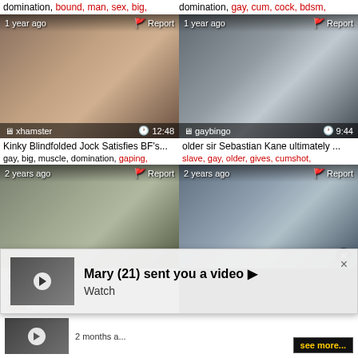domination, bound, man, sex, big,
domination, gay, cum, cock, bdsm,
[Figure (screenshot): Video thumbnail 1 - xhamster, 12:48, 1 year ago]
[Figure (screenshot): Video thumbnail 2 - gaybingo, 9:44, 1 year ago]
Kinky Blindfolded Jock Satisfies BF's...
gay, big, muscle, domination, gaping,
older sir Sebastian Kane ultimately ...
slave, gay, older, gives, cumshot,
[Figure (screenshot): Video thumbnail 3 - xhamster, 2 years ago]
[Figure (screenshot): Video thumbnail 4 - 2 years ago]
This web... Twink Fa... domi...
Mary (21) sent you a video ▶ Watch
2 months a...
see more...